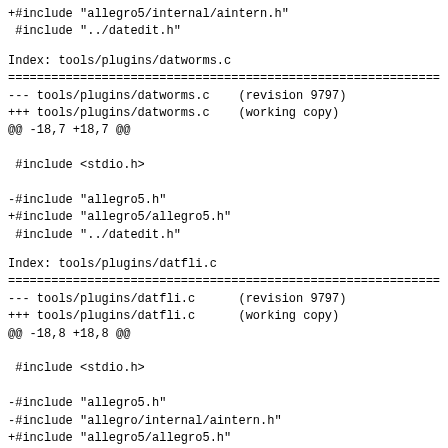+#include "allegro5/internal/aintern.h"
 #include "../datedit.h"
Index: tools/plugins/datworms.c
--- tools/plugins/datworms.c    (revision 9797)
+++ tools/plugins/datworms.c    (working copy)
@@ -18,7 +18,7 @@

 #include <stdio.h>

-#include "allegro5.h"
+#include "allegro5/allegro5.h"
 #include "../datedit.h"
Index: tools/plugins/datfli.c
--- tools/plugins/datfli.c      (revision 9797)
+++ tools/plugins/datfli.c      (working copy)
@@ -18,8 +18,8 @@

 #include <stdio.h>

-#include "allegro5.h"
-#include "allegro/internal/aintern.h"
+#include "allegro5/allegro5.h"
+#include "allegro5/internal/aintern.h"
 #include "../datedit.h"